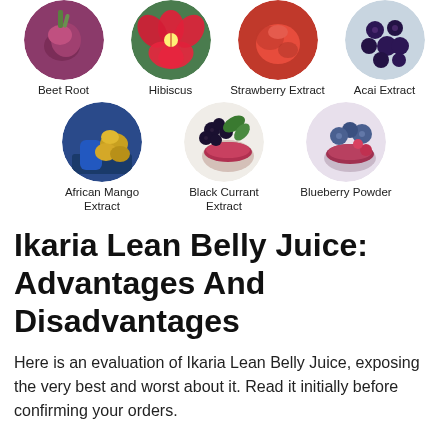[Figure (photo): Row of four circular ingredient photos: Beet Root, Hibiscus, Strawberry Extract, Acai Extract]
[Figure (photo): Row of three circular ingredient photos: African Mango Extract, Black Currant Extract, Blueberry Powder]
Ikaria Lean Belly Juice: Advantages And Disadvantages
Here is an evaluation of Ikaria Lean Belly Juice, exposing the very best and worst about it. Read it initially before confirming your orders.